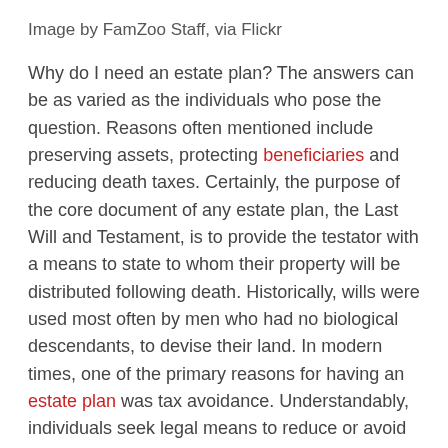Image by FamZoo Staff, via Flickr
Why do I need an estate plan? The answers can be as varied as the individuals who pose the question. Reasons often mentioned include preserving assets, protecting beneficiaries and reducing death taxes. Certainly, the purpose of the core document of any estate plan, the Last Will and Testament, is to provide the testator with a means to state to whom their property will be distributed following death. Historically, wills were used most often by men who had no biological descendants, to devise their land. In modern times, one of the primary reasons for having an estate plan was tax avoidance. Understandably, individuals seek legal means to reduce or avoid potential estate tax liability and trust and estate practitioners are able to oblige through carefully drafted estate planning documents. In light of recent state and federal tax law changes, death taxes are no longer the primary reason the majority of individuals seek to complete their estate plans, as only the